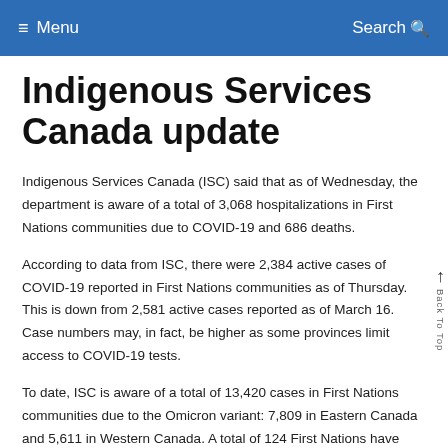≡ Menu    Search 🔍
Indigenous Services Canada update
Indigenous Services Canada (ISC) said that as of Wednesday, the department is aware of a total of 3,068 hospitalizations in First Nations communities due to COVID-19 and 686 deaths.
According to data from ISC, there were 2,384 active cases of COVID-19 reported in First Nations communities as of Thursday. This is down from 2,581 active cases reported as of March 16. Case numbers may, in fact, be higher as some provinces limit access to COVID-19 tests.
To date, ISC is aware of a total of 13,420 cases in First Nations communities due to the Omicron variant: 7,809 in Eastern Canada and 5,611 in Western Canada. A total of 124 First Nations have reported cases...